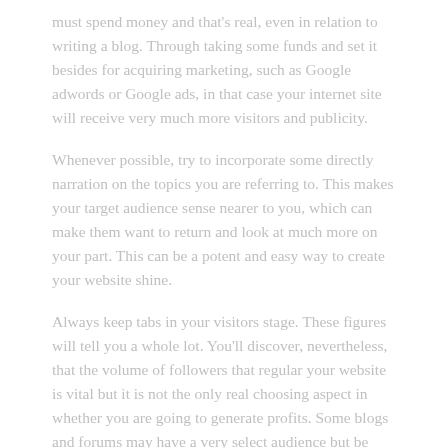must spend money and that's real, even in relation to writing a blog. Through taking some funds and set it besides for acquiring marketing, such as Google adwords or Google ads, in that case your internet site will receive very much more visitors and publicity.
Whenever possible, try to incorporate some directly narration on the topics you are referring to. This makes your target audience sense nearer to you, which can make them want to return and look at much more on your part. This can be a potent and easy way to create your website shine.
Always keep tabs in your visitors stage. These figures will tell you a whole lot. You'll discover, nevertheless, that the volume of followers that regular your website is vital but it is not the only real choosing aspect in whether you are going to generate profits. Some blogs and forums may have a very select audience but be quite rewarding.
One of many simplest ways to begin a brand new weblog is to